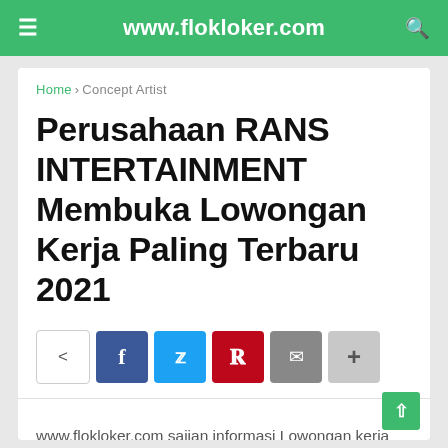www.flokloker.com
Home › Concept Artist
Perusahaan RANS INTERTAINMENT Membuka Lowongan Kerja Paling Terbaru 2021
[Figure (infographic): Social share buttons row: share icon, Facebook (f), Twitter (bird), Pinterest (P), Email (envelope), More (+)]
www.flokloker.com sajian informasi Lowongan kerja teraktual.
Perusahaan RANS INTERTAINMENT Memb...